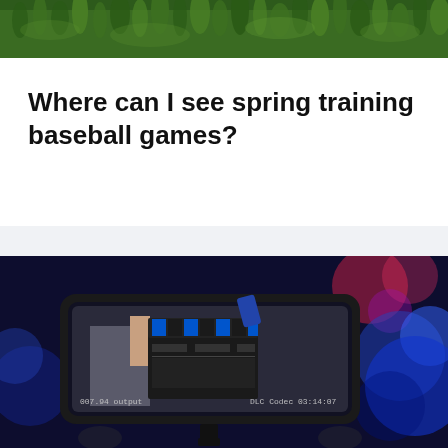[Figure (photo): Close-up photo of green grass from above]
Where can I see spring training baseball games?
[Figure (photo): A camera monitor/field recorder showing a clapperboard being held by a person's hand, with blue bokeh lights in the background. The monitor displays timecode 03:14:07 and codec information.]